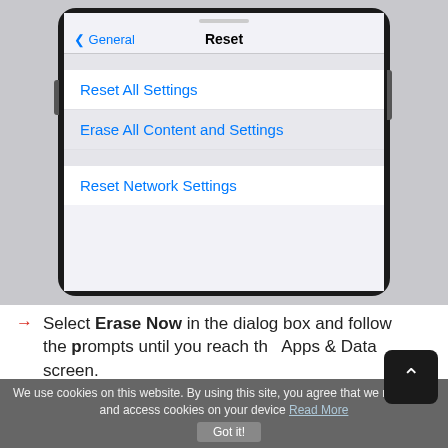[Figure (screenshot): iPhone screenshot showing iOS Settings > Reset screen with menu items: Reset All Settings, Erase All Content and Settings (highlighted), Reset Network Settings. Navigation bar shows back arrow to General and title Reset.]
Select Erase Now in the dialog box and follow the prompts until you reach the Apps & Data screen.
Click on Restore from iCloud Backup.
We use cookies on this website. By using this site, you agree that we may store and access cookies on your device Read More  Got it!